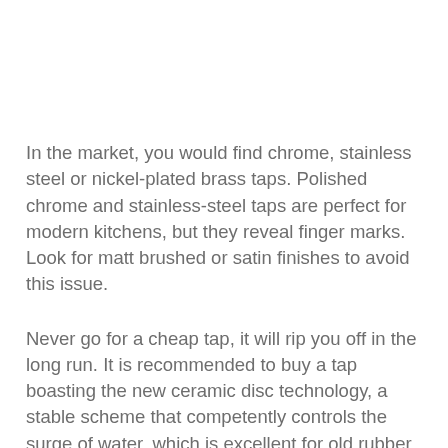In the market, you would find chrome, stainless steel or nickel-plated brass taps. Polished chrome and stainless-steel taps are perfect for modern kitchens, but they reveal finger marks. Look for matt brushed or satin finishes to avoid this issue.
Never go for a cheap tap, it will rip you off in the long run. It is recommended to buy a tap boasting the new ceramic disc technology, a stable scheme that competently controls the surge of water, which is excellent for old rubber washers and do not require frequent fixing. Aerated flow is another excellent eco choice.
Taps featuring spouts that rotate will aid you in providing greatest reach near your sink for cleaning and filling pans. Before set out buying the tap, it is wise to examine the size of your biggest pan to make sure your tap spout rests high